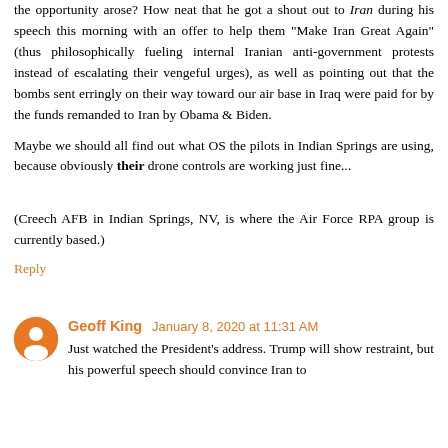the opportunity arose? How neat that he got a shout out to Iran during his speech this morning with an offer to help them "Make Iran Great Again" (thus philosophically fueling internal Iranian anti-government protests instead of escalating their vengeful urges), as well as pointing out that the bombs sent erringly on their way toward our air base in Iraq were paid for by the funds remanded to Iran by Obama & Biden.
Maybe we should all find out what OS the pilots in Indian Springs are using, because obviously their drone controls are working just fine...
(Creech AFB in Indian Springs, NV, is where the Air Force RPA group is currently based.)
Reply
Geoff King January 8, 2020 at 11:31 AM
Just watched the President's address. Trump will show restraint, but his powerful speech should convince Iran to